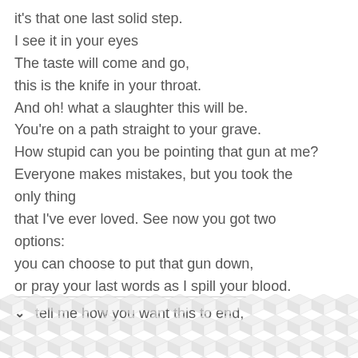it's that one last solid step.
I see it in your eyes
The taste will come and go,
this is the knife in your throat.
And oh! what a slaughter this will be.
You're on a path straight to your grave.
How stupid can you be pointing that gun at me?
Everyone makes mistakes, but you took the only thing
that I've ever loved. See now you got two options:
you can choose to put that gun down,
or pray your last words as I spill your blood.
✓ tell me how you want this to end,